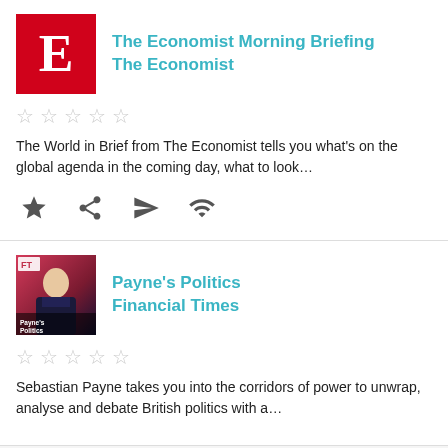[Figure (screenshot): The Economist podcast logo - red square with white E]
The Economist Morning Briefing
The Economist
The World in Brief from The Economist tells you what's on the global agenda in the coming day, what to look...
[Figure (screenshot): Payne's Politics podcast logo - FT branded image with man in suit]
Payne's Politics
Financial Times
Sebastian Payne takes you into the corridors of power to unwrap, analyse and debate British politics with a...
You don't have any episodes in your queue
Start to listen to an episode